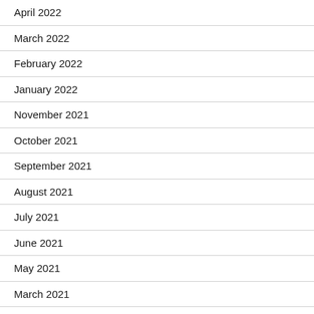April 2022
March 2022
February 2022
January 2022
November 2021
October 2021
September 2021
August 2021
July 2021
June 2021
May 2021
March 2021
February 2021
January 2021